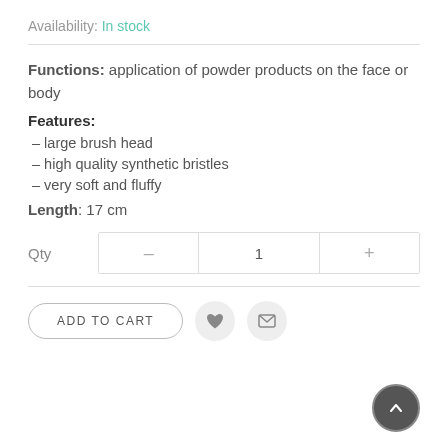Availability: In stock
Functions: application of powder products on the face or body
Features:
– large brush head
– high quality synthetic bristles
– very soft and fluffy
Length: 17 cm
Qty  –  1  +
ADD TO CART